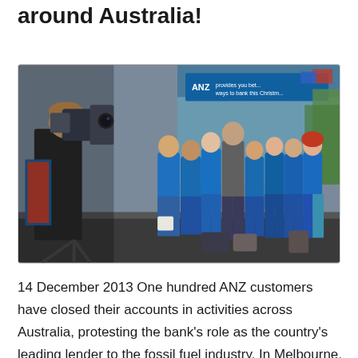around Australia!
[Figure (photo): A camera operator films a line of ANZ bank protesters wearing blue t-shirts standing outside an ANZ bank branch in Australia.]
14 December 2013 One hundred ANZ customers have closed their accounts in activities across Australia, protesting the bank's role as the country's leading lender to the fossil fuel industry. In Melbourne,